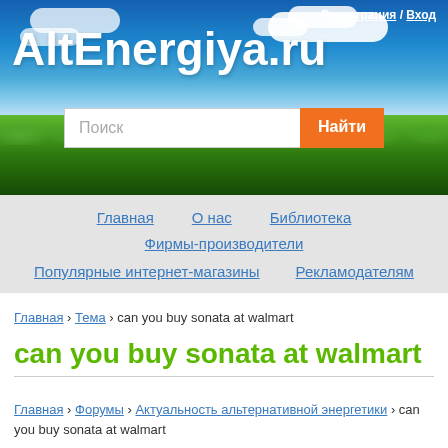[Figure (screenshot): Website header banner with sky, clouds, grass background, site title AltEnergiya.ru, search bar with orange button]
Регистрация / Вход
AltEnergiya.ru
Поиск [Найти]
Главная
О нас
Библиотека
Фирмы-производители
Популярные интернет-магазины
Рекламодателям
Главная › Тема › can you buy sonata at walmart
can you buy sonata at walmart
Главная › Форумы › Актуальность альтернативной энергетики › can you buy sonata at walmart